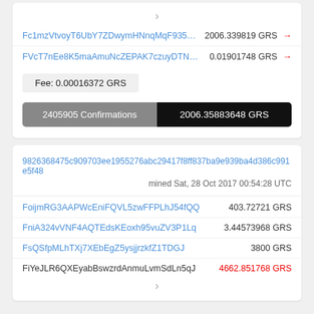›
| Address | Amount |
| --- | --- |
| Fc1mzVtvoyT6UbY7ZDwymHNnqMqF935Xmp | 2006.339819 GRS → |
| FVcT7nEe8K5maAmuNcZEPAK7czuyDTN4J7 | 0.01901748 GRS → |
Fee: 0.00016372 GRS
2405905 Confirmations
2006.35883648 GRS
9826368475c909703ee1955276abc29417f8ff837ba9e939ba4d386c991e5f48
mined Sat, 28 Oct 2017 00:54:28 UTC
| Address | Amount |
| --- | --- |
| FoijmRG3AAPWcEniFQVL5zwFFPLhJ54fQQ | 403.72721 GRS |
| FniA324vVNF4AQTEdsKEoxh95vuZV3P1Lq | 3.44573968 GRS |
| FsQSfpMLhTXj7XEbEgZ5ysjjrzkfZ1TDGJ | 3800 GRS |
| FiYeJLR6QXEyabBswzrdAnmuLvmSdLn5qJ | 4662.851768 GRS |
›